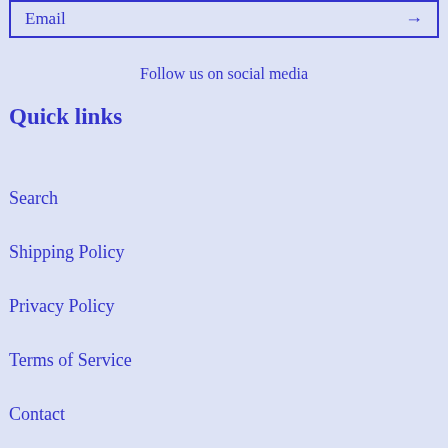Email →
Follow us on social media
Quick links
Search
Shipping Policy
Privacy Policy
Terms of Service
Contact